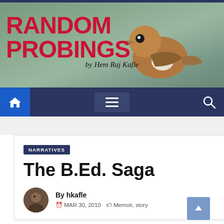RANDOM PROBINGS by Hem Raj Kafle
[Figure (screenshot): Blog header banner with bird photo background, site title RANDOM PROBINGS in bold red, subtitle 'by Hem Raj Kafle']
[Figure (other): Navigation bar with home icon (blue square), hamburger menu icon, and search icon on dark navy background]
NARRATIVES
The B.Ed. Saga
By hkafle
MAR 30, 2010  Memoir, story